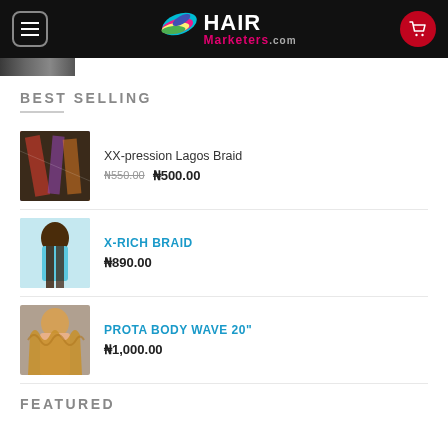Hair Marketers .com — navigation header with menu and cart
[Figure (screenshot): Partial product image at top of scroll]
BEST SELLING
[Figure (photo): XX-pression Lagos Braid product image]
XX-pression Lagos Braid ₦550.00 ₦500.00
[Figure (photo): X-RICH BRAID product image — woman with long braids]
X-RICH BRAID ₦890.00
[Figure (photo): PROTA BODY WAVE 20" product image — woman with wavy hair]
PROTA BODY WAVE 20" ₦1,000.00
FEATURED